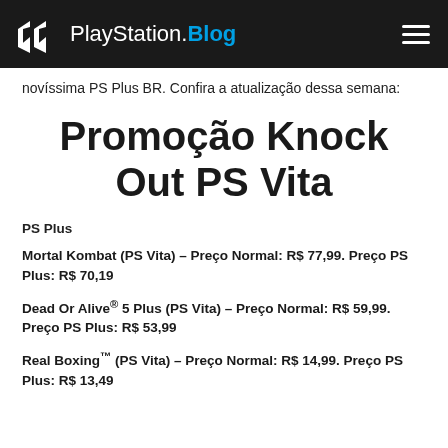PlayStation.Blog
novíssima PS Plus BR. Confira a atualização dessa semana:
Promoção Knock Out PS Vita
PS Plus
Mortal Kombat (PS Vita) – Preço Normal: R$ 77,99. Preço PS Plus: R$ 70,19
Dead Or Alive® 5 Plus (PS Vita) – Preço Normal: R$ 59,99. Preço PS Plus: R$ 53,99
Real Boxing™ (PS Vita) – Preço Normal: R$ 14,99. Preço PS Plus: R$ 13,49